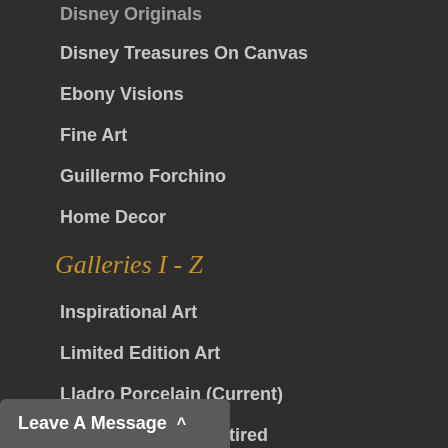Disney Originals
Disney Treasures On Canvas
Ebony Visions
Fine Art
Guillermo Forchino
Home Decor
Galleries I - Z
Inspirational Art
Limited Edition Art
Lladro Porcelain (Current)
Lladro Porcelain Retired
Mixed Media Sculptures
Leave A Message ^